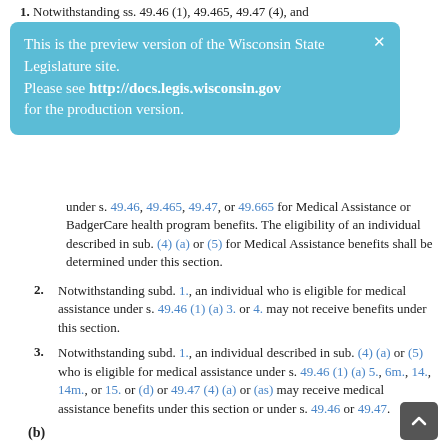1. Notwithstanding ss. 49.46 (1), 49.465, 49.47 (4), and
[Figure (infographic): Preview banner overlay: 'This is the preview version of the Wisconsin State Legislature site. Please see http://docs.legis.wisconsin.gov for the production version.' with a close X button, light blue background.]
under s. 49.46, 49.465, 49.47, or 49.665 for Medical Assistance or BadgerCare health program benefits. The eligibility of an individual described in sub. (4) (a) or (5) for Medical Assistance benefits shall be determined under this section.
2. Notwithstanding subd. 1., an individual who is eligible for medical assistance under s. 49.46 (1) (a) 3. or 4. may not receive benefits under this section.
3. Notwithstanding subd. 1., an individual described in sub. (4) (a) or (5) who is eligible for medical assistance under s. 49.46 (1) (a) 5., 6m., 14., 14m., or 15. or (d) or 49.47 (4) (a) or (as) may receive medical assistance benefits under this section or under s. 49.46 or 49.47.
(b)
1. If an individual over 18 years of age who is eligible for and receiving Medical Assistance benefits under s. 49.46, 49.47, or 49.665 in the month before BadgerCare Plus is implemented loses that eligibility solely due to the implementation of BadgerCare Plus and, because of his